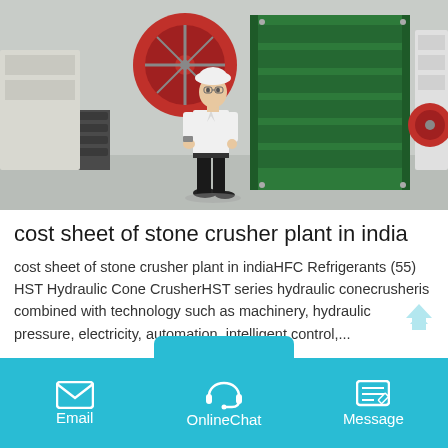[Figure (photo): A man in a white shirt and hard hat standing in front of a large green jaw crusher machine in an industrial facility. Red flywheel visible on the left side of the machine.]
cost sheet of stone crusher plant in india
cost sheet of stone crusher plant in indiaHFC Refrigerants (55) HST Hydraulic Cone CrusherHST series hydraulic conecrusheris combined with technology such as machinery, hydraulic pressure, electricity, automation, intelligent control,...
Email  OnlineChat  Message